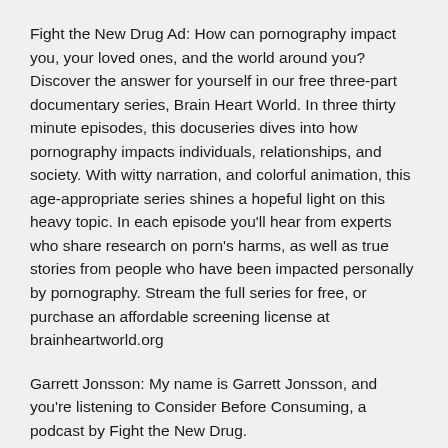Fight the New Drug Ad: How can pornography impact you, your loved ones, and the world around you? Discover the answer for yourself in our free three-part documentary series, Brain Heart World. In three thirty minute episodes, this docuseries dives into how pornography impacts individuals, relationships, and society. With witty narration, and colorful animation, this age-appropriate series shines a hopeful light on this heavy topic. In each episode you'll hear from experts who share research on porn's harms, as well as true stories from people who have been impacted personally by pornography. Stream the full series for free, or purchase an affordable screening license at brainheartworld.org
Garrett Jonsson: My name is Garrett Jonsson, and you're listening to Consider Before Consuming, a podcast by Fight the New Drug.